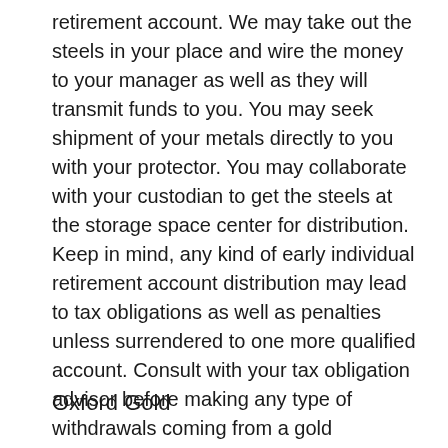retirement account. We may take out the steels in your place and wire the money to your manager as well as they will transmit funds to you. You may seek shipment of your metals directly to you with your protector. You may collaborate with your custodian to get the steels at the storage space center for distribution. Keep in mind, any kind of early individual retirement account distribution may lead to tax obligations as well as penalties unless surrendered to one more qualified account. Consult with your tax obligation advisor before making any type of withdrawals coming from a gold individual retirement account.
Oxford Gold